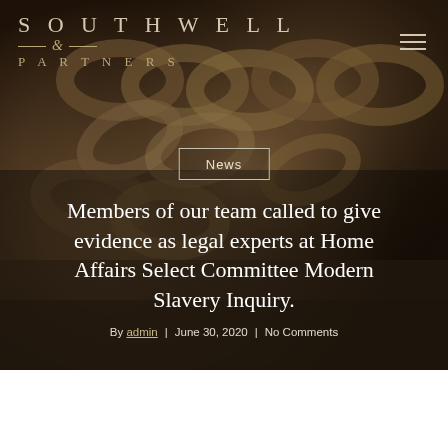[Figure (photo): Dark background photo of rusty metal chains close-up, used as hero image background]
SOUTHWELL & PARTNERS
News
Members of our team called to give evidence as legal experts at Home Affairs Select Committee Modern Slavery Inquiry.
By admin | June 30, 2020 | No Comments